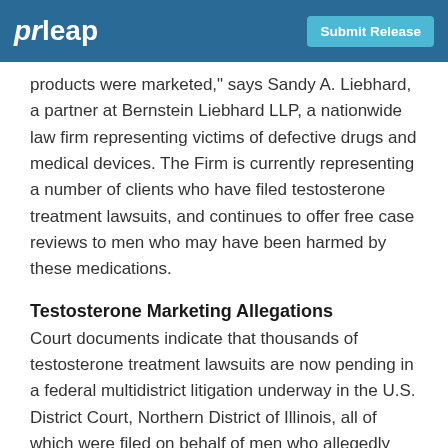prleap | Submit Release
products were marketed," says Sandy A. Liebhard, a partner at Bernstein Liebhard LLP, a nationwide law firm representing victims of defective drugs and medical devices. The Firm is currently representing a number of clients who have filed testosterone treatment lawsuits, and continues to offer free case reviews to men who may have been harmed by these medications.
Testosterone Marketing Allegations
Court documents indicate that thousands of testosterone treatment lawsuits are now pending in a federal multidistrict litigation underway in the U.S. District Court, Northern District of Illinois, all of which were filed on behalf of men who allegedly suffered